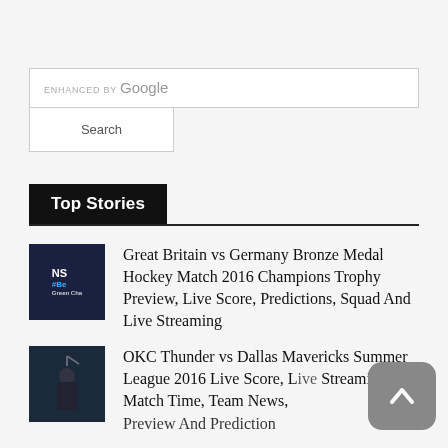[Figure (screenshot): Google custom search box with 'ENHANCED BY Google' label and a Search button below]
Top Stories
[Figure (photo): Dark thumbnail image with text 'NS', '#Be', and some text overlay related to hockey/sports]
Great Britain vs Germany Bronze Medal Hockey Match 2016 Champions Trophy Preview, Live Score, Predictions, Squad And Live Streaming
[Figure (photo): Dark thumbnail showing basketball player with arm raised]
OKC Thunder vs Dallas Mavericks Summer League 2016 Live Score, Live Streaming, Match Time, Team News, Preview And Prediction